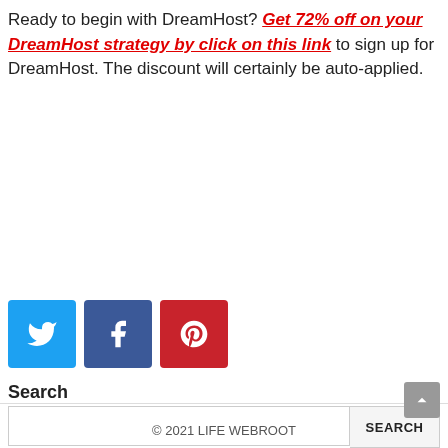Ready to begin with DreamHost? Get 72% off on your DreamHost strategy by click on this link to sign up for DreamHost. The discount will certainly be auto-applied.
[Figure (other): Social media share buttons: Twitter (blue), Facebook (dark blue), Pinterest (red)]
Search
[Figure (other): Search input box with SEARCH button]
© 2021 LIFE WEBROOT